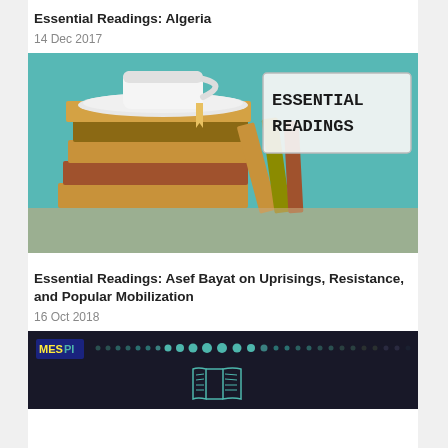Essential Readings: Algeria
14 Dec 2017
[Figure (photo): Stack of old books with a white coffee cup on top, leaning against more books on a teal chalkboard background. A framed sign reads 'ESSENTIAL READINGS' in typewriter font.]
Essential Readings: Asef Bayat on Uprisings, Resistance, and Popular Mobilization
16 Oct 2018
[Figure (photo): Dark background image with MESPI logo and teal dots pattern, with an open book icon in teal at the bottom center.]